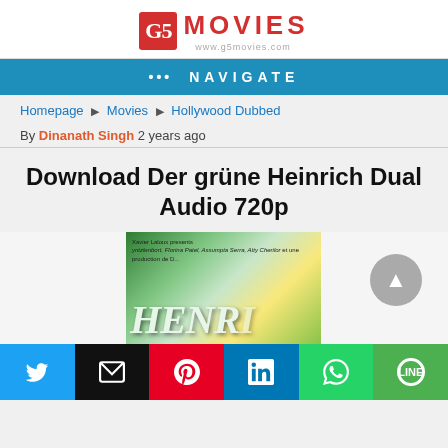[Figure (logo): G5 Movies website logo with red icon and red text 'MOVIES', url below]
••• NAVIGATE
Homepage ▶ Movies ▶ Hollywood Dubbed
By Dinanath Singh 2 years ago
Download Der grüne Heinrich Dual Audio 720p
[Figure (photo): Movie poster for Der grüne Heinrich showing green background with large white italic text 'HENR' partially visible, small cast credits at top]
[Figure (other): Social share buttons: Twitter, Email, Pinterest, LinkedIn, WhatsApp, LINE]